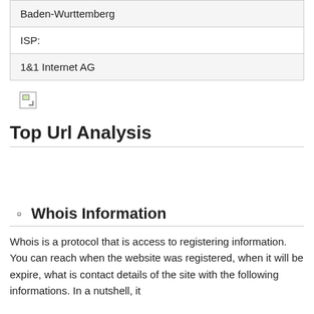| Baden-Wurttemberg |
| ISP: |
| 1&1 Internet AG |
[Figure (other): Broken image placeholder icon]
Top Url Analysis
Whois Information
Whois is a protocol that is access to registering information. You can reach when the website was registered, when it will be expire, what is contact details of the site with the following informations. In a nutshell, it